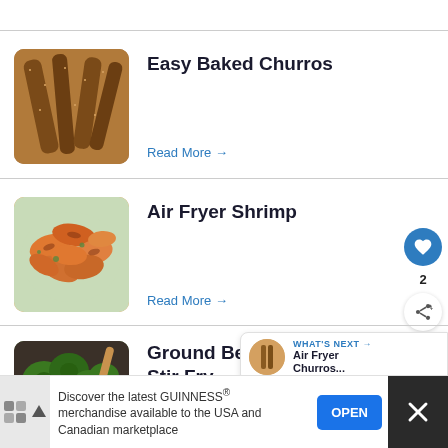[Figure (photo): Close-up photo of baked churros coated in cinnamon sugar]
Easy Baked Churros
Read More →
[Figure (photo): Close-up photo of seasoned air fryer shrimp with herbs]
Air Fryer Shrimp
Read More →
[Figure (photo): Ground beef and broccoli stir fry in a pan]
Ground Beef and Broccoli Stir Fry
WHAT'S NEXT → Air Fryer Churros...
Discover the latest GUINNESS® merchandise available to the USA and Canadian marketplace
OPEN